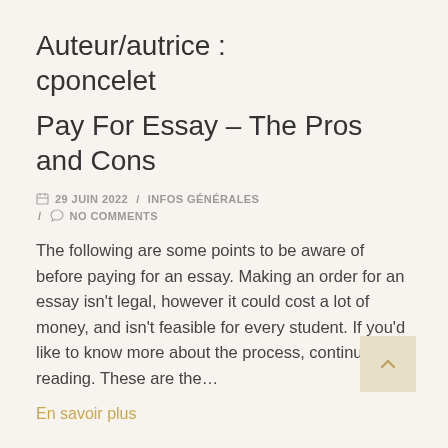Auteur/autrice : cponcelet
Pay For Essay – The Pros and Cons
29 JUIN 2022 / INFOS GÉNÉRALES / NO COMMENTS
The following are some points to be aware of before paying for an essay. Making an order for an essay isn't legal, however it could cost a lot of money, and isn't feasible for every student. If you'd like to know more about the process, continue reading. These are the…
En savoir plus